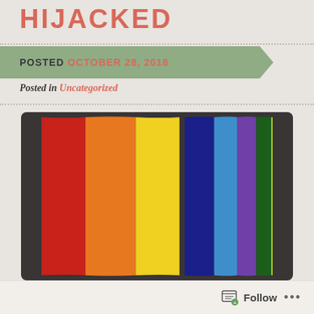HIJACKED
POSTED OCTOBER 28, 2018
Posted in Uncategorized
[Figure (photo): Rainbow flag with vertical stripes of red, orange, yellow, dark blue, light blue, purple, dark green, and lime green, displayed on a dark grey background]
Follow ...